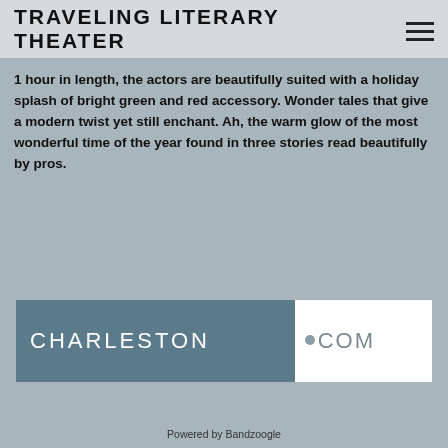TRAVELING LITERARY THEATER
1 hour in length, the actors are beautifully suited with a holiday splash of bright green and red accessory. Wonder tales that give a modern twist yet still enchant. Ah, the warm glow of the most wonderful time of the year found in three stories read beautifully by pros.
[Figure (logo): Charleston.com logo with dark blue-grey left panel showing CHARLESTON and white right panel showing .COM with a small dot icon]
Powered by Bandzoogle